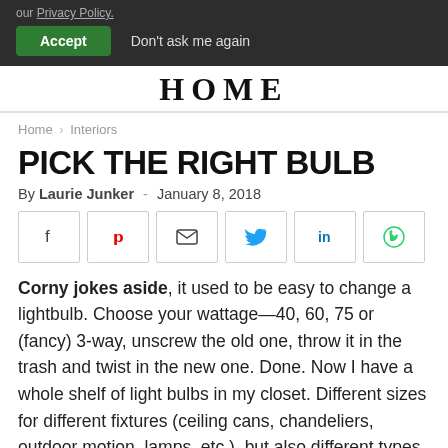our Privacy Policy.
Accept   Don't ask me again
HOME
Home › Interiors
PICK THE RIGHT BULB
By Laurie Junker - January 8, 2018
[Figure (other): Social share icons: Facebook, Pinterest, Email, Twitter, LinkedIn, WhatsApp]
Corny jokes aside, it used to be easy to change a lightbulb. Choose your wattage—40, 60, 75 or (fancy) 3-way, unscrew the old one, throw it in the trash and twist in the new one. Done. Now I have a whole shelf of light bulbs in my closet. Different sizes for different fixtures (ceiling cans, chandeliers, outdoor motion, lamps, etc.), but also different types because of